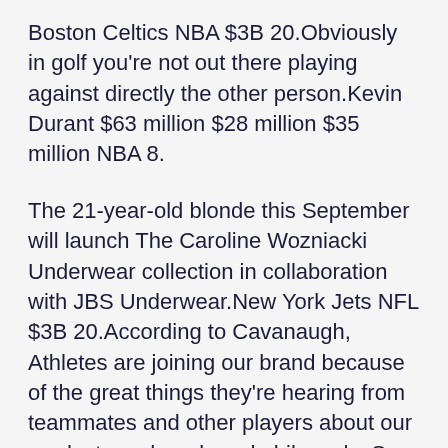Boston Celtics NBA $3B 20.Obviously in golf you're not out there playing against directly the other person.Kevin Durant $63 million $28 million $35 million NBA 8.
The 21-year-old blonde this September will launch The Caroline Wozniacki Underwear collection in collaboration with JBS Underwear.New York Jets NFL $3B 20.According to Cavanaugh, Athletes are joining our brand because of the great things they're hearing from teammates and other players about our products and our brand philosophy.San Francisco 49ers NFL $3B 13.
San Francisco Giants MLB $3B 23.Starting against https://www.amazon.com/dp/B086W76Q38 Maine Red Claws, he had a triple-double: 28 points, 11 assists and 12 rebounds.What makes this league